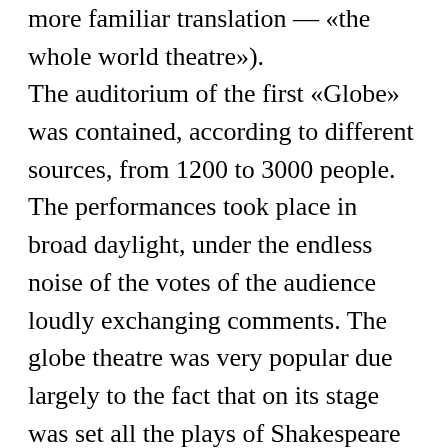more familiar translation — «the whole world theatre»). The auditorium of the first «Globe» was contained, according to different sources, from 1200 to 3000 people. The performances took place in broad daylight, under the endless noise of the votes of the audience loudly exchanging comments. The globe theatre was very popular due largely to the fact that on its stage was set all the plays of Shakespeare and other great playwrights of the era. In 1613, during the premiere of Shakespeare's «Henry VIII» in the theater was a fire: stage gun accidentally set fire thatched roof above the stage, the theatre was burned to the ground. The tragic end of the first «Globe» marked and change theatrical literary epochs: around the same time Shakespeare stopped writing plays, said goodbye